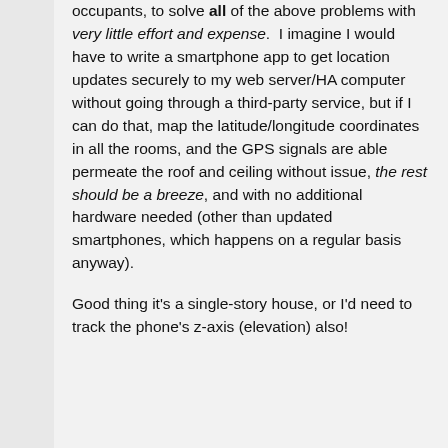occupants, to solve all of the above problems with very little effort and expense. I imagine I would have to write a smartphone app to get location updates securely to my web server/HA computer without going through a third-party service, but if I can do that, map the latitude/longitude coordinates in all the rooms, and the GPS signals are able permeate the roof and ceiling without issue, the rest should be a breeze, and with no additional hardware needed (other than updated smartphones, which happens on a regular basis anyway).
Good thing it's a single-story house, or I'd need to track the phone's z-axis (elevation) also!